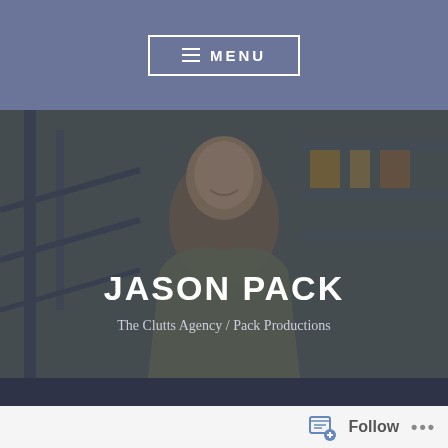≡ MENU
[Figure (photo): Hero image of Jason Pack, a man smiling, seated near metal stairs/railing, wearing an olive polo shirt. Overlaid with name and subtitle text.]
JASON PACK
The Clutts Agency / Pack Productions
PERSEVERANCE
Posted on April 21, 2017 by jasonleepack
The ups and downs and the ebb and flow of life can be quite a roller coaster.  We set our sights on
Follow ...